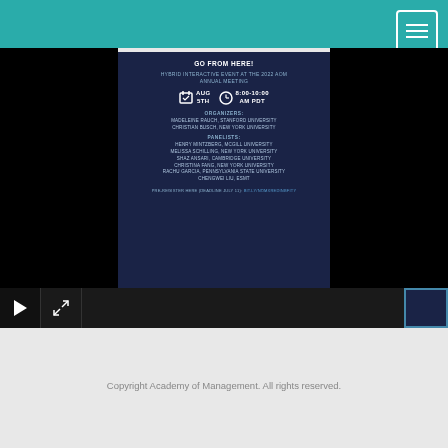[Figure (screenshot): Teal navigation bar with hamburger menu icon (three horizontal lines) in white bordered square, top right corner]
[Figure (screenshot): Navy blue event card with white and light blue text showing: GO FROM HERE! heading, HYBRID INTERACTIVE EVENT AT THE 2022 AOM ANNUAL MEETING subtitle, date AUG 5TH and time 8:00-10:00 AM PDT with calendar and clock icons, ORGANIZERS: MADELEINE RAUCH STANFORD UNIVERSITY, CHRISTIAN BUSCH NEW YORK UNIVERSITY, PANELISTS: HENRY MINTZBERG MCGILL UNIVERSITY, MELISSA SCHILLING NEW YORK UNIVERSITY, SHAZ ANSARI CAMBRIDGE UNIVERSITY, CHRISTINA FANG NEW YORK UNIVERSITY, RACHU GARCIA PENNSYLVANIA STATE UNIVERSITY, CHENGWEI LIU ESMT, and PRE-REGISTER HERE DEADLINE JULY 11 link]
[Figure (screenshot): Video player controls bar with play button, expand button, and thumbnail preview on the right]
Copyright Academy of Management. All rights reserved.